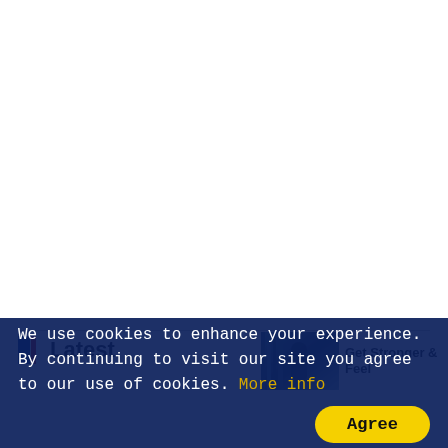[Figure (screenshot): White blank area representing main page content above the footer]
Latest
[Figure (photo): Small photo thumbnail of a person in a library/office setting with bookshelves]
Get Stronger & Feel
We use cookies to enhance your experience. By continuing to visit our site you agree to our use of cookies. More info
Agree